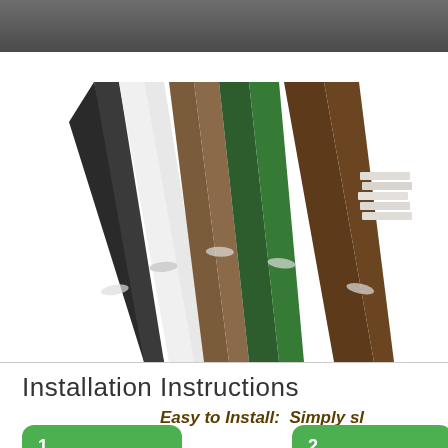[Figure (photo): Product photo showing five strips/planks in different colors (dark brown/charcoal, white, medium brown, dark green, brown) fanned out against a white background, with small rectangular mounting slots visible on each strip. A stack of light-colored strips is visible in the upper right corner.]
Installation Instructions
Easy to Install:  Simply sl
[Figure (infographic): Green rounded rectangle numbered '1.' — step one of installation instructions.]
[Figure (infographic): Green rounded rectangle numbered '2.' — step two of installation instructions.]